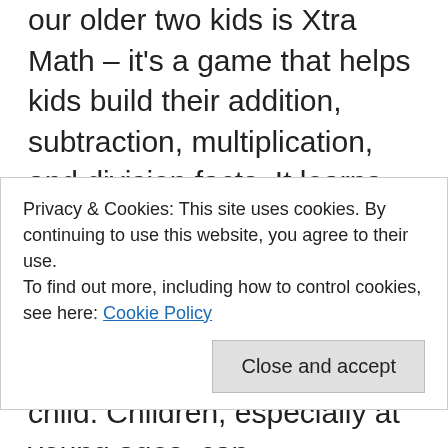our older two kids is Xtra Math – it's a game that helps kids build their addition, subtraction, multiplication, and division facts. It learns which facts your children need to practice most and works with them on those.
(3) Reading out loud to your child. Children, especially at young ages, can comprehend so much more than they can read themselves. They learn so much by having their adults read to them. You can read literature or non-fiction science or history
Privacy & Cookies: This site uses cookies. By continuing to use this website, you agree to their use.
To find out more, including how to control cookies, see here: Cookie Policy